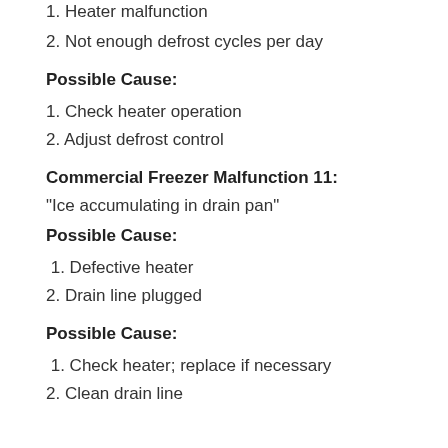1. Heater malfunction
2. Not enough defrost cycles per day
Possible Cause:
1. Check heater operation
2. Adjust defrost control
Commercial Freezer Malfunction 11:
"Ice accumulating in drain pan"
Possible Cause:
1. Defective heater
2. Drain line plugged
Possible Cause:
1. Check heater; replace if necessary
2. Clean drain line